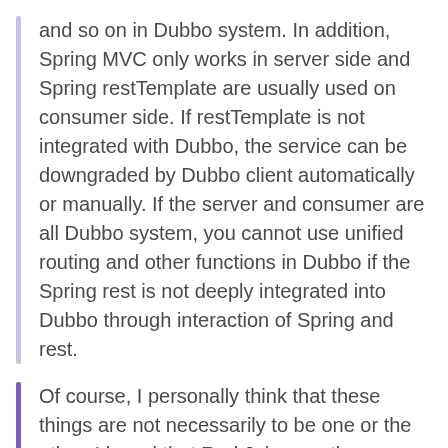and so on in Dubbo system. In addition, Spring MVC only works in server side and Spring restTemplate are usually used on consumer side. If restTemplate is not integrated with Dubbo, the service can be downgraded by Dubbo client automatically or manually. If the server and consumer are all Dubbo system, you cannot use unified routing and other functions in Dubbo if the Spring rest is not deeply integrated into Dubbo through interaction of Spring and rest.
Of course, I personally think that these things are not necessarily to be one or the other. I heard that Rod Johnson, the founder of spring usually says 'the customer is always right,' In fact, it is better to support both ways at the same time rather than discuss which way is better, so that originally I wrote in the document that we plan to support Spring rest annotation, but the feasibility is unknown.